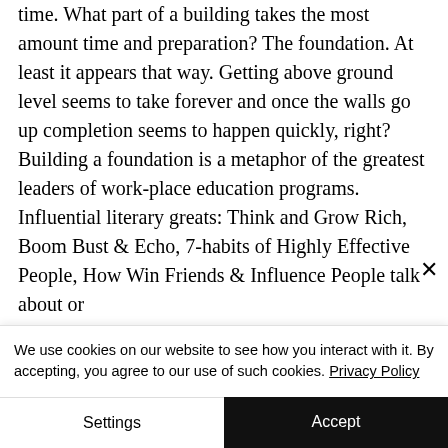time. What part of a building takes the most amount time and preparation? The foundation. At least it appears that way. Getting above ground level seems to take forever and once the walls go up completion seems to happen quickly, right? Building a foundation is a metaphor of the greatest leaders of work-place education programs. Influential literary greats: Think and Grow Rich, Boom Bust & Echo, 7-habits of Highly Effective People, How Win Friends & Influence People talk about or
We use cookies on our website to see how you interact with it. By accepting, you agree to our use of such cookies. Privacy Policy